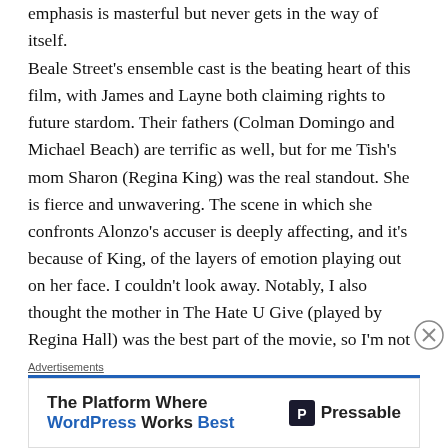emphasis is masterful but never gets in the way of itself.
Beale Street's ensemble cast is the beating heart of this film, with James and Layne both claiming rights to future stardom. Their fathers (Colman Domingo and Michael Beach) are terrific as well, but for me Tish's mom Sharon (Regina King) was the real standout. She is fierce and unwavering. The scene in which she confronts Alonzo's accuser is deeply affecting, and it's because of King, of the layers of emotion playing out on her face. I couldn't look away. Notably, I also thought the mother in The Hate U Give (played by Regina Hall) was the best part of the movie, so I'm not sure if black moms are having a moment, or if it's Reginas specifically, but watch out, they're coming. Jenkins puts together a cast that becomes the fabric of his film. There is no detail too small to have escaped his love and attention. This is one of the better
Advertisements
[Figure (other): Advertisement banner: 'The Platform Where WordPress Works Best' by Pressable]